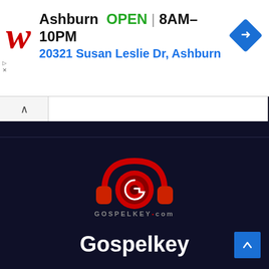[Figure (screenshot): Walgreens advertisement banner showing Ashburn location: OPEN 8AM-10PM, address 20321 Susan Leslie Dr, Ashburn, with blue direction diamond icon]
Ashburn  OPEN | 8AM–10PM
20321 Susan Leslie Dr, Ashburn
[Figure (logo): GospelKey.com logo: red headphones with G letter in center on dark navy background, with text GOSPELKEY.com below]
Gospelkey